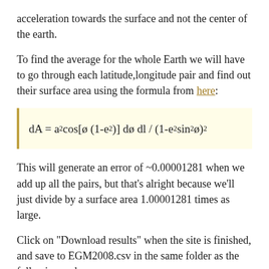acceleration towards the surface and not the center of the earth.
To find the average for the whole Earth we will have to go through each latitude,longitude pair and find out their surface area using the formula from here:
This will generate an error of ~0.00001281 when we add up all the pairs, but that’s alright because we’ll just divide by a surface area 1.00001281 times as large.
Click on “Download results” when the site is finished, and save to EGM2008.csv in the same folder as the following code.
egm.sh: